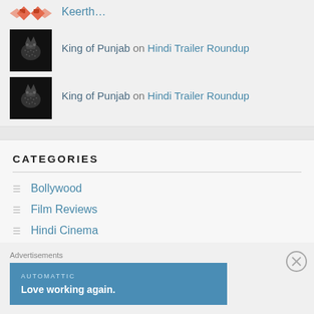Keerth...
King of Punjab on Hindi Trailer Roundup
King of Punjab on Hindi Trailer Roundup
CATEGORIES
Bollywood
Film Reviews
Hindi Cinema
Advertisements
AUTOMATTIC
Love working again.